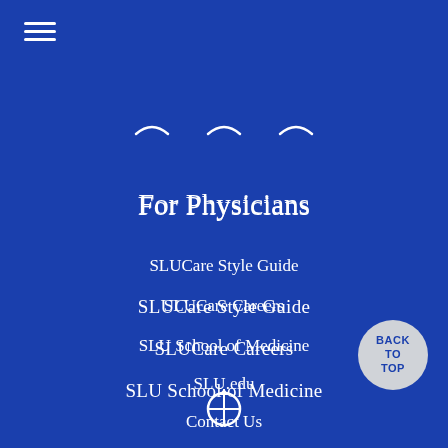[Figure (other): Hamburger menu icon (three horizontal white lines) in top left corner]
[Figure (other): Three social media icons (arc/smile shapes) centered near top]
For Physicians
SLUCare Style Guide
SLUCare Careers
SLU School of Medicine
SLU.edu
Contact Us
Disclaimer
[Figure (other): BACK TO TOP circular button in bottom right]
[Figure (logo): SLU institutional logo/crest at bottom center, partially visible]